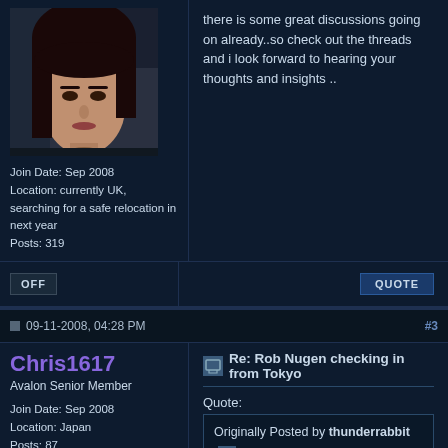[Figure (photo): Profile photo of a woman with dark hair and bangs]
Join Date: Sep 2008
Location: currently UK, searching for a safe relocation in next year
Posts: 319
there is some great discussions going on already..so check out the threads and i look forward to hearing your thoughts and insights ..
OFF
QUOTE
09-11-2008, 04:28 PM
#3
Chris1617
Avalon Senior Member
Join Date: Sep 2008
Location: Japan
Posts: 87
Re: Rob Nugen checking in from Tokyo
Quote:
Originally Posted by thunderrabbit
I was just thinking it had been a while since I had heard from Project Camelot... Thanks to Bill and Kerry and (and others (?)) for setting this up!

I'm checking in from Tokyo: